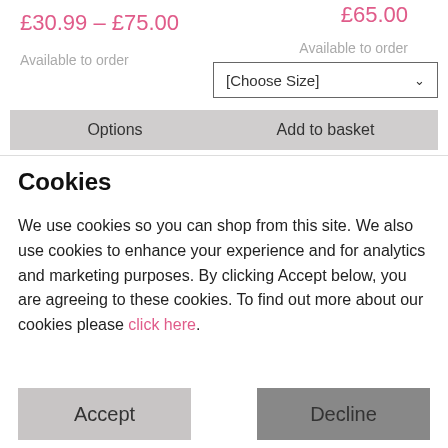£30.99 – £75.00
£65.00
Available to order
Available to order
[Choose Size]
Options
Add to basket
Cookies
We use cookies so you can shop from this site. We also use cookies to enhance your experience and for analytics and marketing purposes. By clicking Accept below, you are agreeing to these cookies. To find out more about our cookies please click here.
Accept
Decline